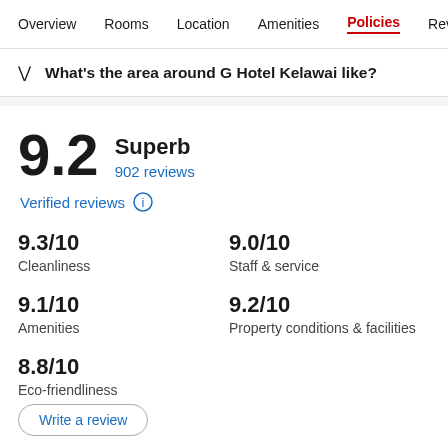Overview  Rooms  Location  Amenities  Policies  Reviews
What's the area around G Hotel Kelawai like?
9.2 Superb
902 reviews
Verified reviews
9.3/10 Cleanliness
9.0/10 Staff & service
9.1/10 Amenities
9.2/10 Property conditions & facilities
8.8/10 Eco-friendliness
Write a review